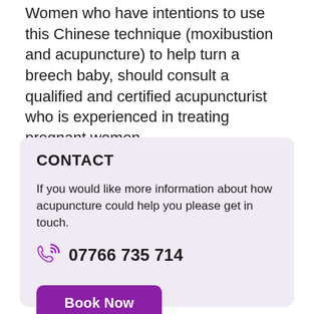Women who have intentions to use this Chinese technique (moxibustion and acupuncture) to help turn a breech baby, should consult a qualified and certified acupuncturist who is experienced in treating pregnant women.
CONTACT
If you would like more information about how acupuncture could help you please get in touch.
07766 735 714
Book Now